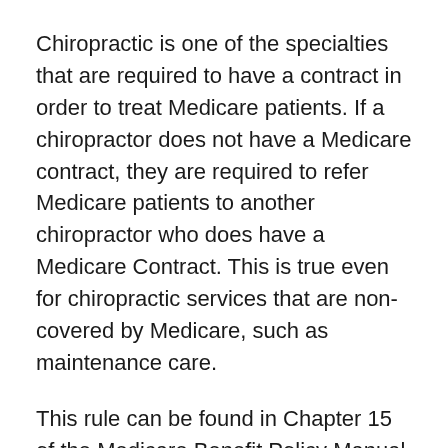Chiropractic is one of the specialties that are required to have a contract in order to treat Medicare patients. If a chiropractor does not have a Medicare contract, they are required to refer Medicare patients to another chiropractor who does have a Medicare Contract. This is true even for chiropractic services that are non-covered by Medicare, such as maintenance care.
This rule can be found in Chapter 15 of the Medicare Benefit Policy Manual in Section 40.4. It states; “the opt out law does not define “physician” to include chiropractors; therefore, they may not opt out of Medicare and provide services under private contract.” There has been a confusing notion in the chiropractic profession that chiropractors can have the patient sign an Advance Beneficiary Notice and bill the patient without